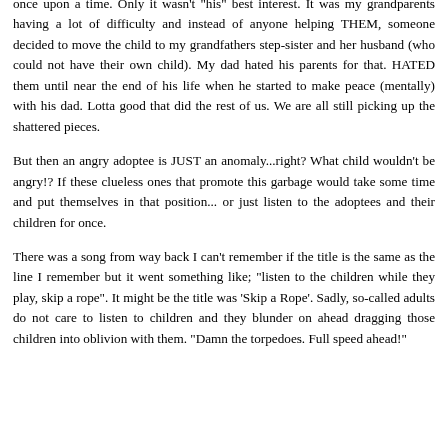once upon a time. Only it wasn't "his" best interest. It was my grandparents having a lot of difficulty and instead of anyone helping THEM, someone decided to move the child to my grandfathers step-sister and her husband (who could not have their own child). My dad hated his parents for that. HATED them until near the end of his life when he started to make peace (mentally) with his dad. Lotta good that did the rest of us. We are all still picking up the shattered pieces.
But then an angry adoptee is JUST an anomaly...right? What child wouldn't be angry!? If these clueless ones that promote this garbage would take some time and put themselves in that position... or just listen to the adoptees and their children for once.
There was a song from way back I can't remember if the title is the same as the line I remember but it went something like; "listen to the children while they play, skip a rope". It might be the title was 'Skip a Rope'. Sadly, so-called adults do not care to listen to children and they blunder on ahead dragging those children into oblivion with them. "Damn the torpedoes. Full speed ahead!"